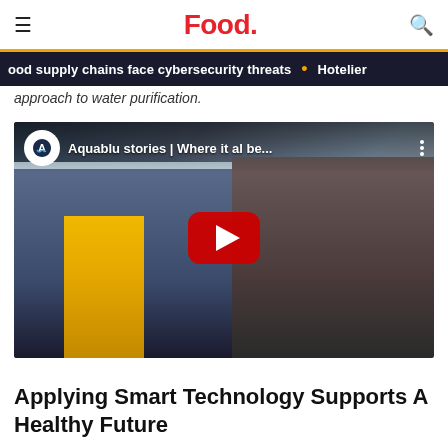Food.
ood supply chains face cybersecurity threats • Hotelier
approach to water purification.
[Figure (screenshot): YouTube video thumbnail showing two men outdoors, one in a yellow jacket. Video title: Aquablu stories | Where it al be... with YouTube play button overlay.]
Applying Smart Technology Supports A Healthy Future